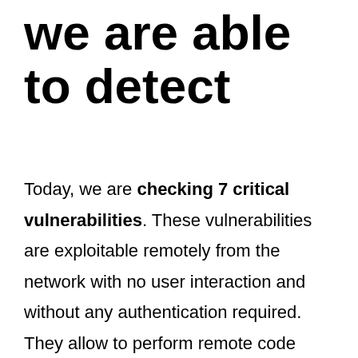we are able to detect
Today, we are checking 7 critical vulnerabilities. These vulnerabilities are exploitable remotely from the network with no user interaction and without any authentication required. They allow to perform remote code execution on affected targets and that is why cyber crooks love them.